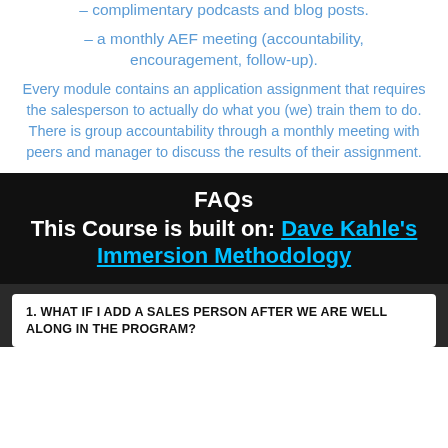– complimentary podcasts and blog posts.
– a monthly AEF meeting (accountability, encouragement, follow-up).
Every module contains an application assignment that requires the salesperson to actually do what you (we) train them to do. There is group accountability through a monthly meeting with peers and manager to discuss the results of their assignment.
FAQs
This Course is built on: Dave Kahle's Immersion Methodology
1. WHAT IF I ADD A SALES PERSON AFTER WE ARE WELL ALONG IN THE PROGRAM?